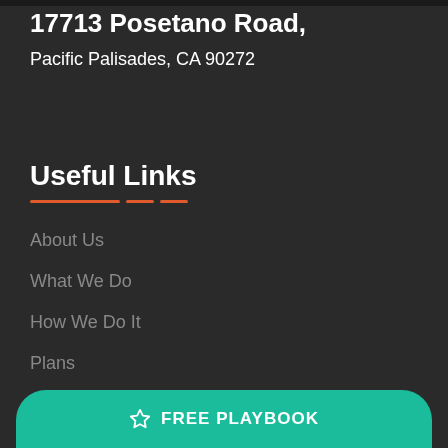17713 Posetano Road,
Pacific Palisades, CA 90272
Useful Links
About Us
What We Do
How We Do It
Plans
FREE PLAYBOOK